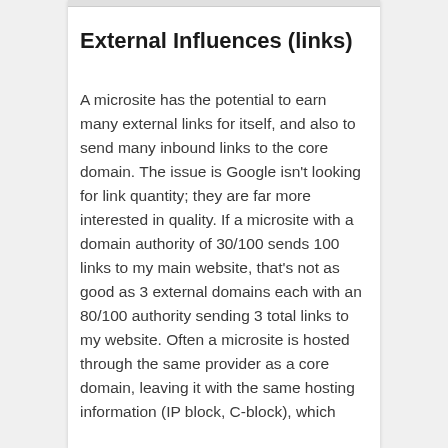External Influences (links)
A microsite has the potential to earn many external links for itself, and also to send many inbound links to the core domain. The issue is Google isn't looking for link quantity; they are far more interested in quality. If a microsite with a domain authority of 30/100 sends 100 links to my main website, that's not as good as 3 external domains each with an 80/100 authority sending 3 total links to my website. Often a microsite is hosted through the same provider as a core domain, leaving it with the same hosting information (IP block, C-block), which